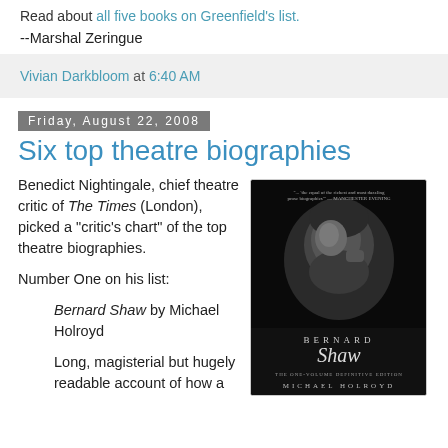Read about all five books on Greenfield's list.
--Marshal Zeringue
Vivian Darkbloom at 6:40 AM
Friday, August 22, 2008
Six top theatre biographies
Benedict Nightingale, chief theatre critic of The Times (London), picked a "critic's chart" of the top theatre biographies.
Number One on his list:
Bernard Shaw by Michael Holroyd
Long, magisterial but hugely readable account of how a
[Figure (photo): Book cover of Bernard Shaw by Michael Holroyd - black and white photo of an elderly bearded man, with the title 'Bernard Shaw' and 'MICHAEL HOLROYD' shown at the bottom.]